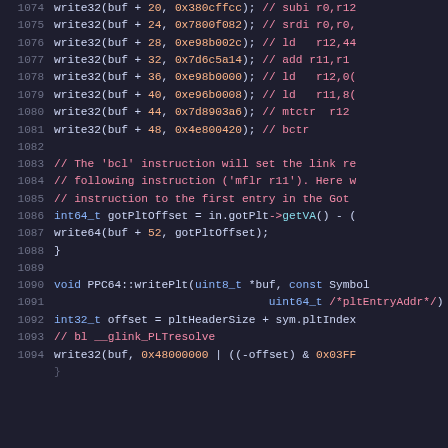[Figure (screenshot): Source code snippet showing C++ code for PPC64 write32/write64 function calls with hex values and comments, syntax highlighted on dark background. Lines 1074-1094 visible.]